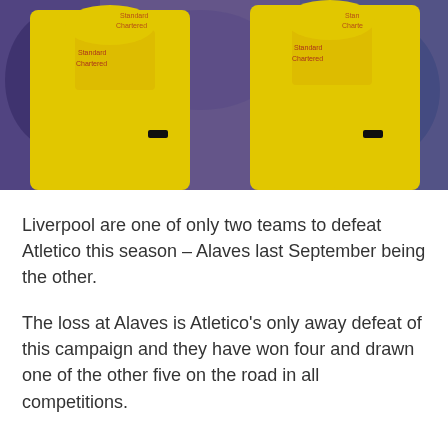[Figure (photo): Two Liverpool FC players in yellow away kits applauding/clapping, photographed from waist up with blurred crowd background. Standard Chartered sponsor logo visible on shirts.]
Liverpool are one of only two teams to defeat Atletico this season – Alaves last September being the other.
The loss at Alaves is Atletico's only away defeat of this campaign and they have won four and drawn one of the other five on the road in all competitions.